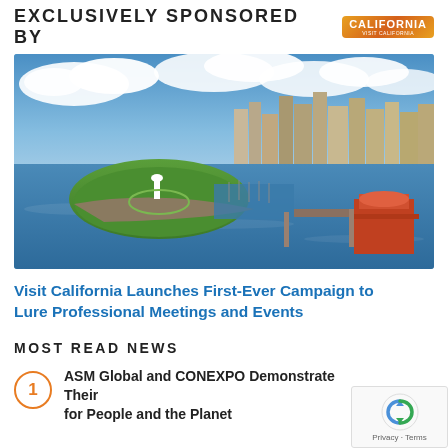EXCLUSIVELY SPONSORED BY CALIFORNIA
[Figure (photo): Aerial view of a coastal city harbor with a green park peninsula, marina with boats, and downtown skyline under blue sky with clouds — likely Long Beach, California.]
Visit California Launches First-Ever Campaign to Lure Professional Meetings and Events
MOST READ NEWS
ASM Global and CONEXPO Demonstrate Their for People and the Planet